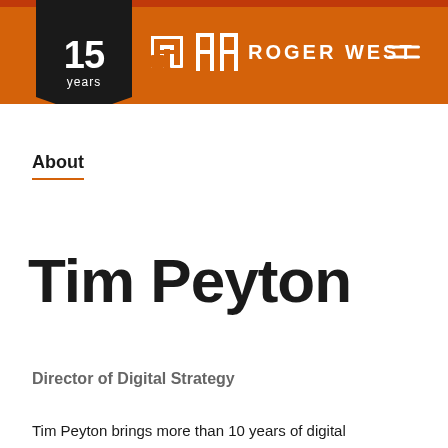[Figure (logo): Roger West company logo with 15 years anniversary banner. Orange header bar with black ribbon/pennant showing '15 years', white square icon with 'rw' letterform, and 'ROGER WEST' text in white. Hamburger menu icon on right.]
About
Tim Peyton
Director of Digital Strategy
Tim Peyton brings more than 10 years of digital